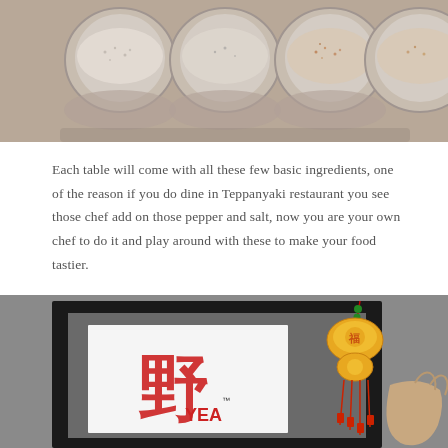[Figure (photo): Top-down view of four small stainless steel condiment containers with various spices/salts on a table surface]
Each table will come with all these few basic ingredients, one of the reason if you do dine in Teppanyaki restaurant you see those chef add on those pepper and salt, now you are your own chef to do it and play around with these to make your food tastier.
[Figure (photo): A framed sign showing a Chinese character (野/YEA) with a decorative Chinese lucky charm/tassel hanging from the frame, against a grey wall]